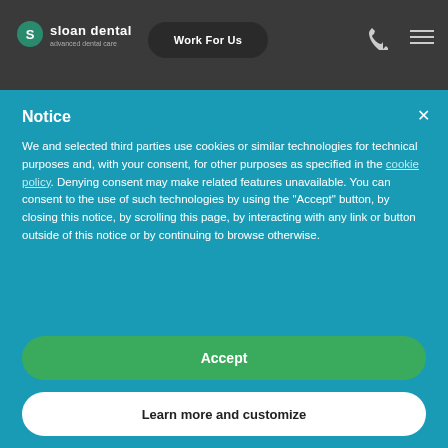sloan dental | Work For Us
Notice
We and selected third parties use cookies or similar technologies for technical purposes and, with your consent, for other purposes as specified in the cookie policy. Denying consent may make related features unavailable. You can consent to the use of such technologies by using the "Accept" button, by closing this notice, by scrolling this page, by interacting with any link or button outside of this notice or by continuing to browse otherwise.
Accept
Learn more and customize